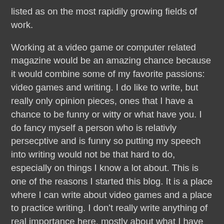listed as on the most rapidily growing fields of work.
Working at a video game or computer related magazine would be an amazing chance because it would combine some of my favorite passions: video games and writing. I do like to write, but really only opinion pieces, ones that I have a chance to be funny or witty or what have you. I do fancy myself a person who is relativly persecptive and is funny so putting my speech into writing would not be that hard to do, especially on things I know a lot about. This is one of the reasons I started this blog. It is a place where I can write about video games and a place to practice writing. I don't really write anything of real importance here, mostly about what I have been playing and what is cool about it and what have you. I have heard that blogging promotes blogging and the more you do it, the more you want to. I also posed the question, is blogging about one or two sentences or is it about fully fleshed out ideas that read like Magazine articles.
Now, getting to my point. If blogs are about realized and interpreted ideas, what does one write about? I could come and complain that the reason I don't do the former is